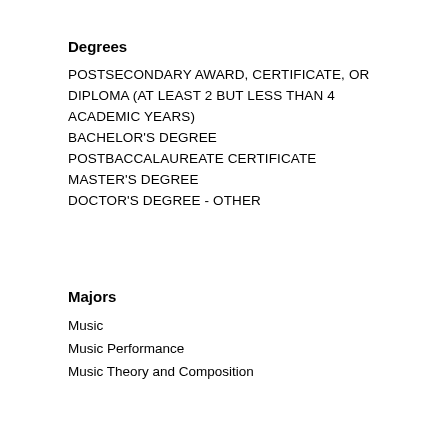Degrees
POSTSECONDARY AWARD, CERTIFICATE, OR DIPLOMA (AT LEAST 2 BUT LESS THAN 4 ACADEMIC YEARS)
BACHELOR'S DEGREE
POSTBACCALAUREATE CERTIFICATE
MASTER'S DEGREE
DOCTOR'S DEGREE - OTHER
Majors
Music
Music Performance
Music Theory and Composition